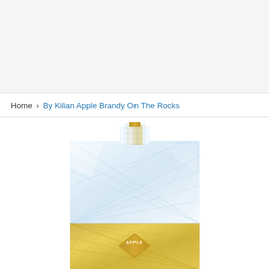Home > By Kilian Apple Brandy On The Rocks
[Figure (photo): By Kilian Apple Brandy On The Rocks perfume bottle — a square crystal-cut glass flacon with clear faceted top half showing the spray mechanism with gold/amber accents, and the lower portion showing golden/amber liquid with a gold diamond-shaped label reading 'APPLE']